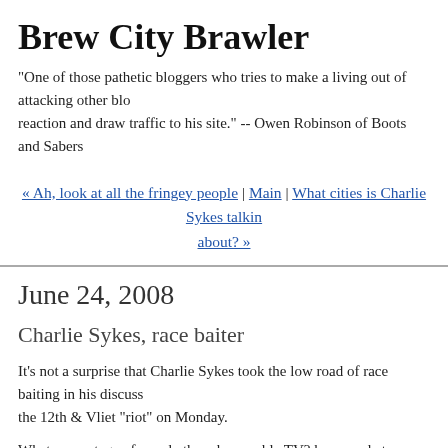Brew City Brawler
"One of those pathetic bloggers who tries to make a living out of attacking other bloggers to generate reaction and draw traffic to his site." -- Owen Robinson of Boots and Sabers
« Ah, look at all the fringey people | Main | What cities is Charlie Sykes talking about? »
June 24, 2008
Charlie Sykes, race baiter
It's not a surprise that Charlie Sykes took the low road of race baiting in his discussion of the 12th & Vliet "riot" on Monday.
What percentage of people there have cable TV? he mused at one point.
"I would say at least 85%," opined one caller, who didn't allow her ignorance to stand in the way of a precise statistical assessment (indeed, with those skills, why did she have time to call in to Charlie at 9:30ish on a Monday?). Others bemoaned how the people